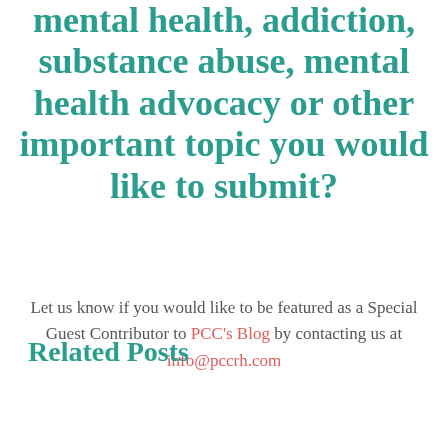mental health, addiction, substance abuse, mental health advocacy or other important topic you would like to submit?
Let us know if you would like to be featured as a Special Guest Contributor to PCC's Blog by contacting us at info@pccrh.com
Related Posts